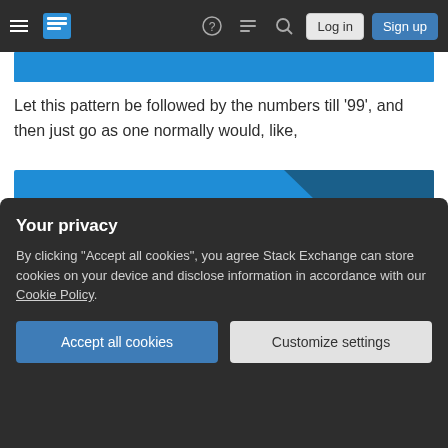Stack Exchange navigation bar with hamburger menu, logo, help, chat, search icons, Log in and Sign up buttons
[Figure (screenshot): Cropped blue card image at top of page]
Let this pattern be followed by the numbers till '99', and then just go as one normally would, like,
[Figure (screenshot): Blue card UI element showing '999' in top right and 'LABEL' in bottom left on a blue background with dark blue triangle corner]
Your privacy
By clicking "Accept all cookies", you agree Stack Exchange can store cookies on your device and disclose information in accordance with our Cookie Policy.
Accept all cookies   Customize settings
as you manage to place it aesthetically, the size should be matter...